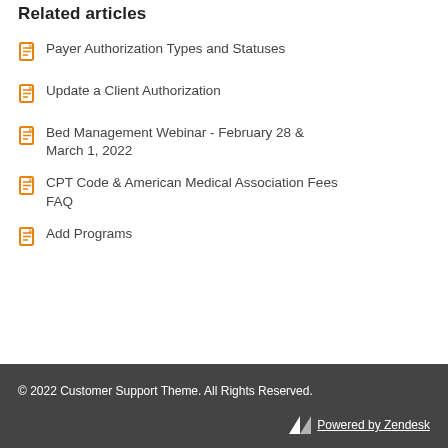Related articles
Payer Authorization Types and Statuses
Update a Client Authorization
Bed Management Webinar - February 28 & March 1, 2022
CPT Code & American Medical Association Fees FAQ
Add Programs
© 2022 Customer Support Theme. All Rights Reserved.
Powered by Zendesk